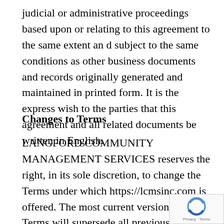judicial or administrative proceedings based upon or relating to this agreement to the same extent an d subject to the same conditions as other business documents and records originally generated and maintained in printed form. It is the express wish to the parties that this agreement and all related documents be written in English.
Changes to Terms
LANGFORD COMMUNITY MANAGEMENT SERVICES reserves the right, in its sole discretion, to change the Terms under which https://lcmsinc.com is offered. The most current version of the Terms will supersede all previous versions. LANGFORD COMMUNITY MANAGEMENT SERVICES encourages you to periodically review the Terms to stay informed of our updates.
[Figure (logo): Google reCAPTCHA badge with rotating arrows logo and 'Privacy - Terms' text]